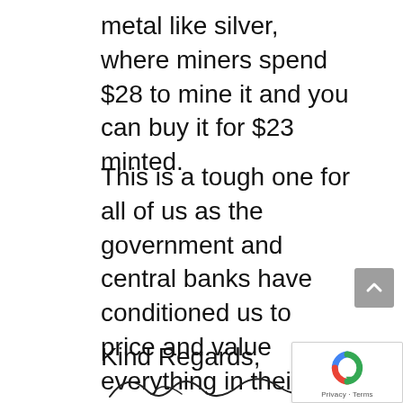metal like silver, where miners spend $28 to mine it and you can buy it for $23 minted.
This is a tough one for all of us as the government and central banks have conditioned us to price and value everything in their worthless manipulated privately controlled currencies. You have to mentally overcome the brainwashing and really think about what is real value and financial wealth.
Kind Regards,
[Figure (illustration): A handwritten signature at the bottom of the page.]